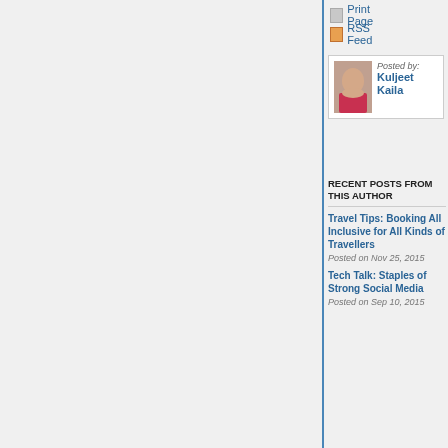Print Page
RSS Feed
Posted by: Kuljeet Kaila
RECENT POSTS FROM THIS AUTHOR
Travel Tips: Booking All Inclusive for All Kinds of Travellers
Posted on Nov 25, 2015
Tech Talk: Staples of Strong Social Media
Posted on Sep 10, 2015
singles, groups, families and seniors – there see kinds of travellers looking to pay just once for all
Here's a list of things to consider before you beg from experienced local travellers.
How many stars will you spring for? The first c clean, customer friendly place to visit. Pictures a ways to get a good se forget to look into is t travel partner(s) are p food allergies, take e sure they can accom variety of foods, espe ages.
[Figure (photo): Child eating at a restaurant table with food on plate]
Travelling with kids: Mattu recently travel young kids. They lea going to a resort that Instead it can be a lot of work for parents to deal when it comes to an endless list of activities and minutes. All these activities also require signing little family time to relax. Kids need to distress to
Going off the resort. Find out if it is safe to do transportation or even a tour guide. It's a great w
[Figure (photo): Food plate with burger/sandwich at restaurant]
Travelling with kids? Local Mom and business owner, K Mattu recently travelled with her husband and three, young kids. They learned one big lesson. "Do not think th going to a resort that is super child friendly is the way to g Instead it can be a lot of work for parents to deal with kids who have too many optio when it comes to an endless list of activities and they keep changing their mind ever minutes. All these activities also require signing up and can be time consuming leav little family time to relax. Kids need to distress too."
Going off the resort. Find out if it is safe to do so first and if the resort will provide transportation or even a tour guide. It's a great way to break up the norm and can e lead to better shopping deals too. Special events manager for Kiss Radio, Aaron Buckley, recommends taking a day off the resort. All Inc...